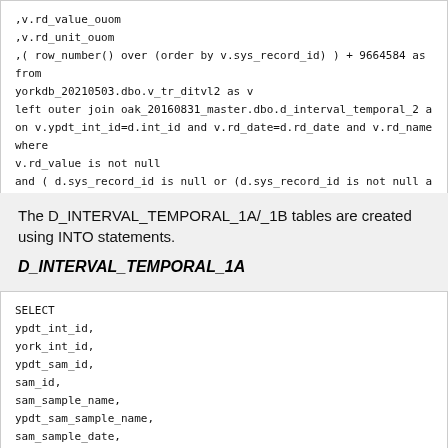,v.rd_value_ouom
,v.rd_unit_ouom
,( row_number() over (order by v.sys_record_id) ) + 9664584 as
from
yorkdb_20210503.dbo.v_tr_ditvl2 as v
left outer join oak_20160831_master.dbo.d_interval_temporal_2 a
on v.ypdt_int_id=d.int_id and v.rd_date=d.rd_date and v.rd_name
where
v.rd_value is not null
and ( d.sys_record_id is null or (d.sys_record_id is not null a
The D_INTERVAL_TEMPORAL_1A/_1B tables are created using INTO statements.
D_INTERVAL_TEMPORAL_1A
SELECT
ypdt_int_id,
york_int_id,
ypdt_sam_id,
sam_id,
sam_sample_name,
ypdt_sam_sample_name,
sam_sample_date,
sam_analysis_date,
sam_lab_sample_id,